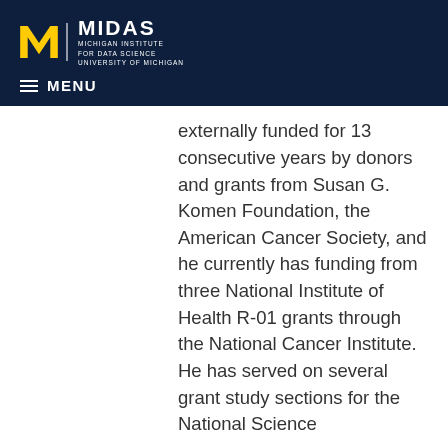MIDAS | MICHIGAN INSTITUTE FOR DATA SCIENCE UNIVERSITY OF MICHIGAN
externally funded for 13 consecutive years by donors and grants from Susan G. Komen Foundation, the American Cancer Society, and he currently has funding from three National Institute of Health R-01 grants through the National Cancer Institute. He has served on several grant study sections for the National Science